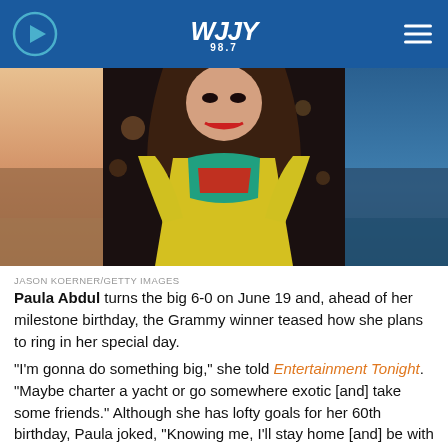WJJY 98.7
[Figure (photo): Photo of Paula Abdul smiling, wearing a colorful yellow, teal and red sequined outfit, with long wavy hair, at a nighttime event. Photo credit: Jason Koerner/Getty Images]
JASON KOERNER/GETTY IMAGES
Paula Abdul turns the big 6-0 on June 19 and, ahead of her milestone birthday, the Grammy winner teased how she plans to ring in her special day.
"I'm gonna do something big," she told Entertainment Tonight. "Maybe charter a yacht or go somewhere exotic [and] take some friends." Although she has lofty goals for her 60th birthday, Paula joked, "Knowing me, I'll stay home [and] be with my dogs."